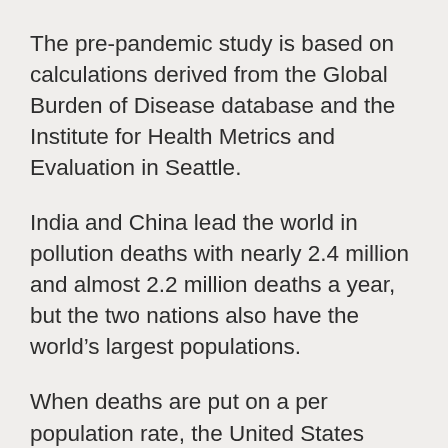The pre-pandemic study is based on calculations derived from the Global Burden of Disease database and the Institute for Health Metrics and Evaluation in Seattle.
India and China lead the world in pollution deaths with nearly 2.4 million and almost 2.2 million deaths a year, but the two nations also have the world’s largest populations.
When deaths are put on a per population rate, the United States ranks 31st from the bottom at 43.6 pollution deaths per 100,000. Chad and the Central African Republic rank the highest with rates about 300 pollution deaths per 100,000, more than half of them due to tainted water, while Brunei, Qatar and